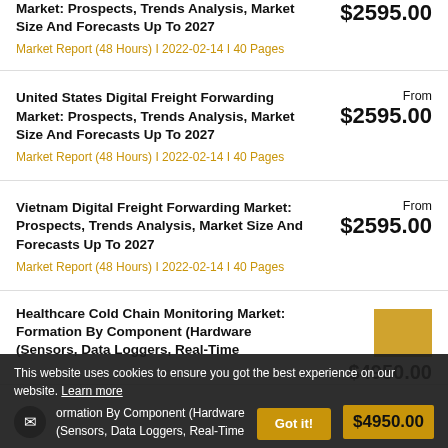Market: Prospects, Trends Analysis, Market Size And Forecasts Up To 2027
$2595.00
Market Report (48 Hours) | 2022-02-14 | 40 Pages
United States Digital Freight Forwarding Market: Prospects, Trends Analysis, Market Size And Forecasts Up To 2027
From $2595.00
Market Report (48 Hours) | 2022-02-14 | 40 Pages
Vietnam Digital Freight Forwarding Market: Prospects, Trends Analysis, Market Size And Forecasts Up To 2027
From $2595.00
Market Report (48 Hours) | 2022-02-14 | 40 Pages
Healthcare Cold Chain Monitoring Market: Formation By Component (Hardware (Sensors, Data Loggers, Real-Time
$4950.00
This website uses cookies to ensure you got the best experience on our website. Learn more